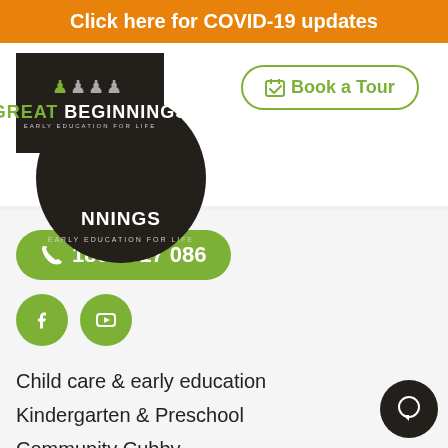Click here for COVID-19 updates
[Figure (logo): Great Beginnings Early Education for Life logo — circular dark brown logo with text and white round logo square overlay]
Book a Tour
1800 517 086
[Figure (illustration): Facebook and YouTube social media icon circles in green]
Child care & early education
Kindergarten & Preschool
Community Cubby
Child Care Subsidy (CCS)